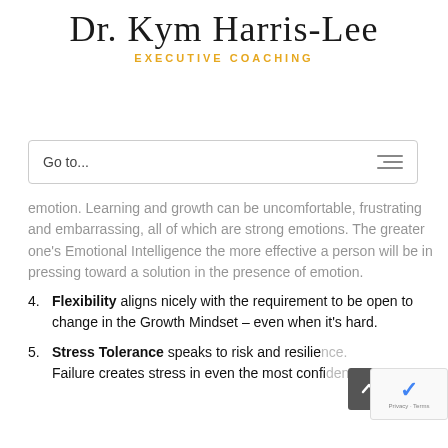Dr. Kym Harris-Lee EXECUTIVE COACHING
Go to...
emotion. Learning and growth can be uncomfortable, frustrating and embarrassing, all of which are strong emotions. The greater one's Emotional Intelligence the more effective a person will be in pressing toward a solution in the presence of emotion.
Flexibility aligns nicely with the requirement to be open to change in the Growth Mindset – even when it's hard.
Stress Tolerance speaks to risk and resilience. Failure creates stress in even the most confident people. Individuals strong in Emotional Intelligence